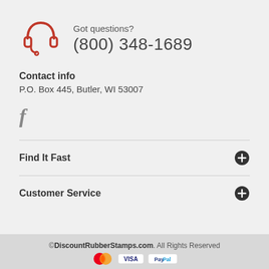[Figure (illustration): Red headset/headphone icon with microphone]
Got questions?
(800) 348-1689
Contact info
P.O. Box 445, Butler, WI 53007
[Figure (logo): Facebook 'f' icon in gray]
Find It Fast
Customer Service
©DiscountRubberStamps.com. All Rights Reserved
[Figure (logo): Payment icons: Mastercard, Visa, PayPal]